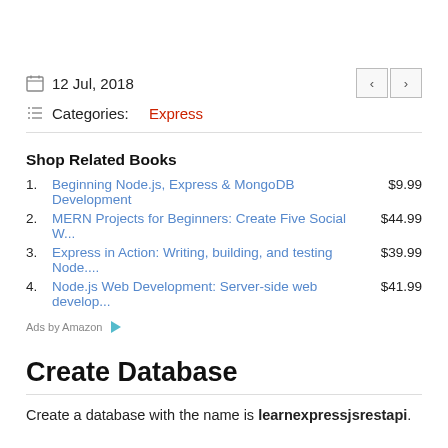12 Jul, 2018
Categories: Express
Shop Related Books
1. Beginning Node.js, Express & MongoDB Development   $9.99
2. MERN Projects for Beginners: Create Five Social W...   $44.99
3. Express in Action: Writing, building, and testing Node....   $39.99
4. Node.js Web Development: Server-side web develop...   $41.99
Ads by Amazon
Create Database
Create a database with the name is learnexpressjsrestapi.